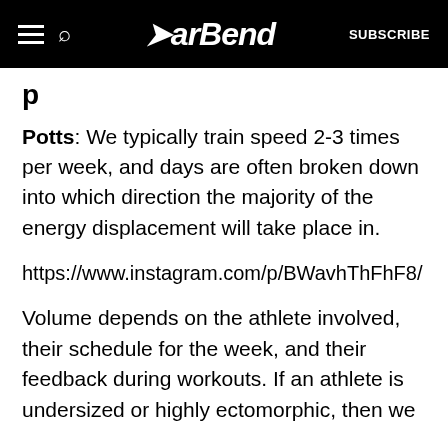BarBend — SUBSCRIBE
p
Potts: We typically train speed 2-3 times per week, and days are often broken down into which direction the majority of the energy displacement will take place in.
https://www.instagram.com/p/BWavhThFhF8/
Volume depends on the athlete involved, their schedule for the week, and their feedback during workouts. If an athlete is undersized or highly ectomorphic, then we